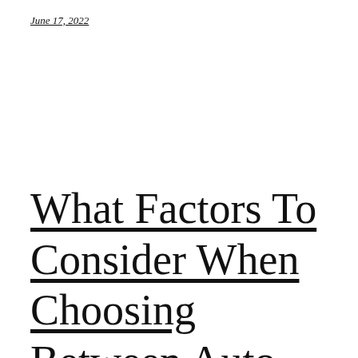June 17, 2022
What Factors To Consider When Choosing Between Auto Shops And Mobile Repairing